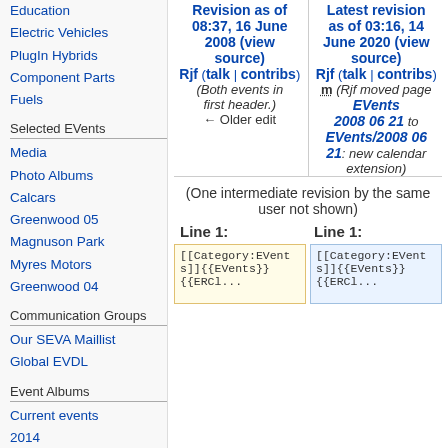Education
Electric Vehicles
PlugIn Hybrids
Component Parts
Fuels
Selected EVents
Media
Photo Albums
Calcars
Greenwood 05
Magnuson Park
Myres Motors
Greenwood 04
Communication Groups
Our SEVA Maillist
Global EVDL
Event Albums
Current events
2014
2013
2012
Revision as of 08:37, 16 June 2008 (view source)
Rjf (talk | contribs)
(Both events in first header.)
← Older edit
Latest revision as of 03:16, 14 June 2020 (view source)
Rjf (talk | contribs)
m (Rjf moved page EVents 2008 06 21 to EVents/2008 06 21: new calendar extension)
(One intermediate revision by the same user not shown)
Line 1:
Line 1:
[[Category:EVents]]{{EVents}}{{ERCl...
[[Category:EVents]]{{EVents}}{{ERCl...